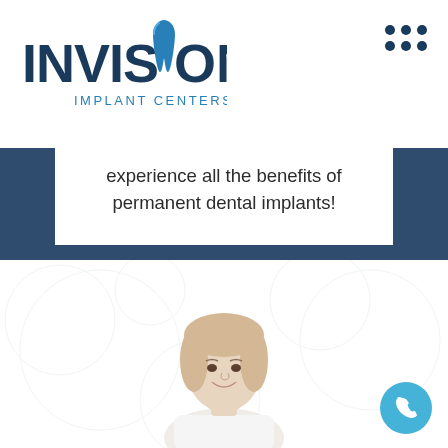[Figure (logo): Invision Implant Centers logo in blue and dark navy text with tooth icon]
[Figure (other): Navigation menu dots icon (3x2 grid of dots) in dark navy blue]
experience all the benefits of permanent dental implants!
[Figure (photo): Middle-aged blonde woman smiling, wearing white top, photo on white background]